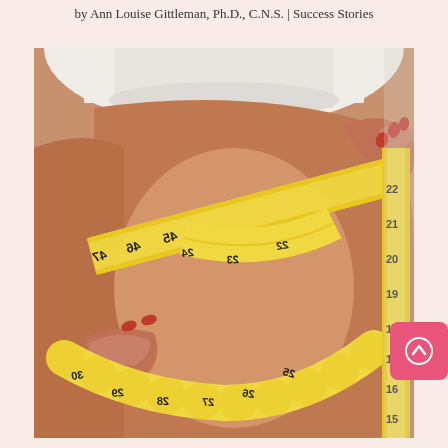by Ann Louise Gittleman, Ph.D., C.N.S. | Success Stories
[Figure (photo): Close-up photo of a person measuring their thigh with a yellow measuring tape showing numbers from approximately 12 to 30, wearing white underwear and a white top. Hands with red nail polish hold the measuring tape.]